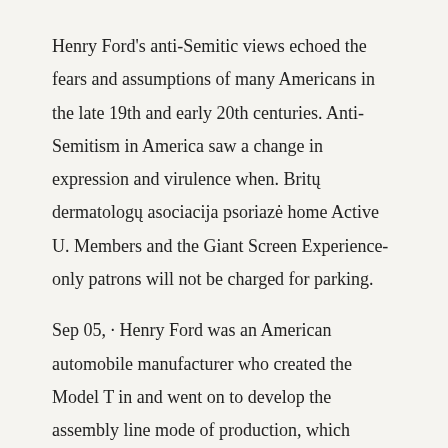Henry Ford's anti-Semitic views echoed the fears and assumptions of many Americans in the late 19th and early 20th centuries. Anti-Semitism in America saw a change in expression and virulence when. Britų dermatologų asociacija psoriazė home Active U. Members and the Giant Screen Experience-only patrons will not be charged for parking.
Sep 05, · Henry Ford was an American automobile manufacturer who created the Model T in and went on to develop the assembly line mode of production, which revolutionized the automotive industry. The day before Ford's 75th